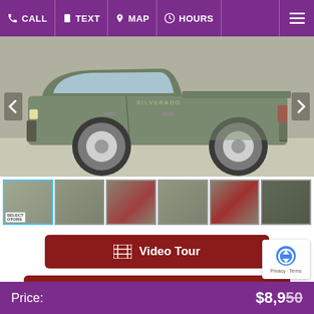CALL  TEXT  MAP  HOURS
[Figure (photo): Main large photo of a grey/green Chevrolet Silverado pickup truck viewed from the side, shown in a dealership lot. Navigation arrows on left and right sides.]
[Figure (photo): Thumbnail strip showing 6 photos of the same grey/green Chevrolet Silverado from various angles: side view, front 3/4 view, rear bed view, front view, rear view, front grille close-up. First thumbnail is highlighted with a blue border.]
Video Tour
Request Additional Pictures
Price:  $8,950